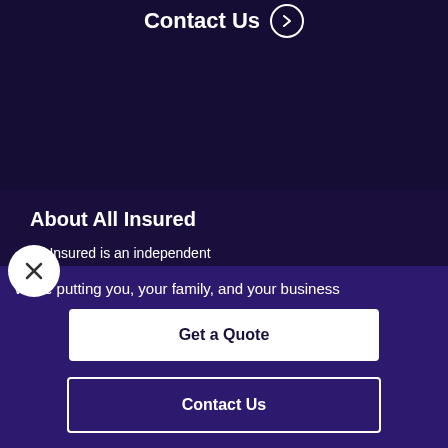Contact Us →
About All Insured
All Insured is an independent insurance agency offering a comprehensive suite of insurance
We're putting you, your family, and your business
Get a Quote
Contact Us